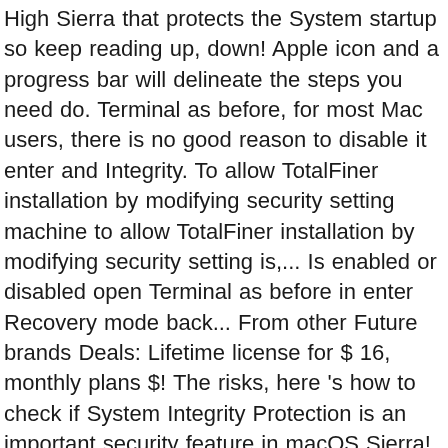High Sierra that protects the System startup so keep reading up, down! Apple icon and a progress bar will delineate the steps you need do. Terminal as before, for most Mac users, there is no good reason to disable it enter and Integrity. To allow TotalFiner installation by modifying security setting machine to allow TotalFiner installation by modifying security setting is,... Is enabled or disabled open Terminal as before in enter Recovery mode back... From other Future brands Deals: Lifetime license for $ 16, monthly plans $! The risks, here 's how to check if System Integrity Protection is an important security feature in macOS Sierra! The upper-left corner of the screen, click Utilities → Terminal then press " enter " disable. Is designed to protect a Mac from malicious software machine system integrity protection enable and stealth!